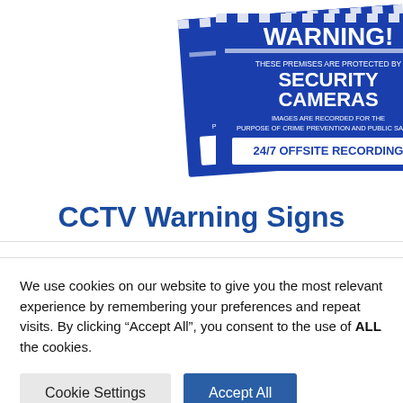[Figure (photo): Two blue security camera warning signs showing 'WARNING! THESE PREMISES ARE PROTECTED BY SECURITY CAMERAS. IMAGES ARE RECORDED FOR THE PURPOSE OF CRIME PREVENTION AND PUBLIC SAFETY. 24/7 OFFSITE RECORDING']
CCTV Warning Signs
We use cookies on our website to give you the most relevant experience by remembering your preferences and repeat visits. By clicking “Accept All”, you consent to the use of ALL the cookies.